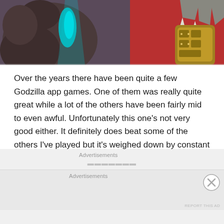[Figure (illustration): Cropped illustration of Godzilla game characters — a dark furry creature with cyan-glowing arm on left, a monster with armored bracers and claws on right against red background]
Over the years there have been quite a few Godzilla app games. One of them was really quite great while a lot of the others have been fairly mid to even awful. Unfortunately this one's not very good either. It definitely does beat some of the others I've played but it's weighed down by constant ads and glitches. Not exactly the mobile atmosphere you were hoping for. I'll give the developers credit for actually getting this published though because it does not look official in the slightest.
Advertisements
Advertisements